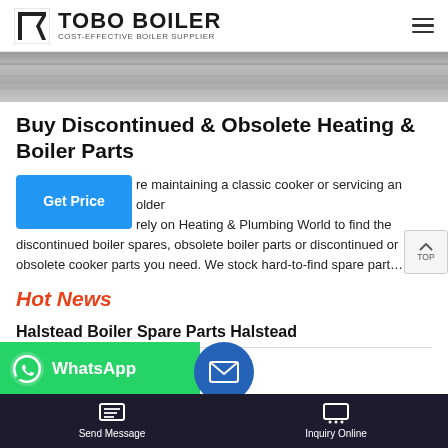TOBO BOILER - COST-EFFECTIVE BOILER SUPPLIER
[Figure (photo): Close-up photo of metal boiler surface or heat exchanger tubes, gray tones]
Buy Discontinued & Obsolete Heating & Boiler Parts
re maintaining a classic cooker or servicing an older rely on Heating & Plumbing World to find the discontinued boiler spares, obsolete boiler parts or discontinued or obsolete cooker parts you need. We stock hard-to-find spare part…
Hot News
Halstead Boiler Spare Parts Halstead
ob ille K
Send Message   Inquiry Online